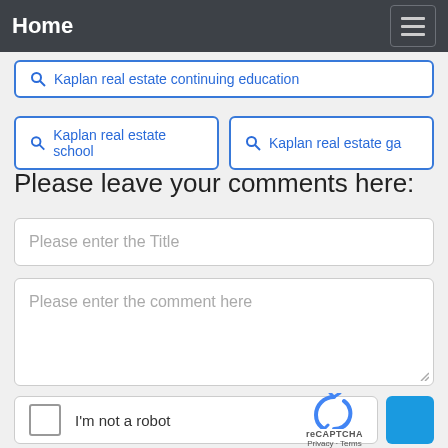Home
Kaplan real estate continuing education
Kaplan real estate school
Kaplan real estate ga
Please leave your comments here:
Please enter the Title
Please enter the comment here
[Figure (other): reCAPTCHA widget with checkbox labeled I'm not a robot and reCAPTCHA logo with Privacy and Terms links]